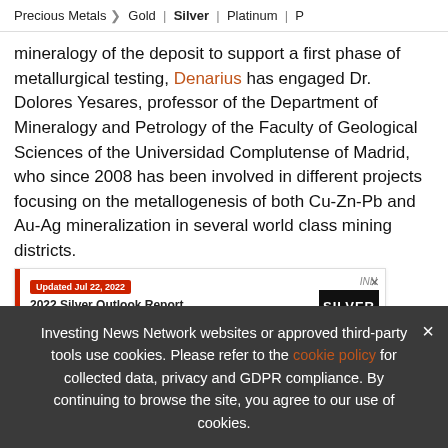Precious Metals > Gold | Silver | Platinum |
mineralogy of the deposit to support a first phase of metallurgical testing, Denarius has engaged Dr. Dolores Yesares, professor of the Department of Mineralogy and Petrology of the Faculty of Geological Sciences of the Universidad Complutense of Madrid, who since 2008 has been involved in different projects focusing on the metallogenesis of both Cu-Zn-Pb and Au-Ag mineralization in several world class mining districts.
The following table lists the key intercepts from the d...
[Figure (other): Advertisement banner for 2022 Silver Outlook Report by INN (Investing News Network). Updated Jul 22, 2022. Text: TOP SILVER Stocks, Trends, Expert Forecasts. Shows book cover with SILVER OUTLOOK 2022.]
since the Company's previous press release issued
Investing News Network websites or approved third-party tools use cookies. Please refer to the cookie policy for collected data, privacy and GDPR compliance. By continuing to browse the site, you agree to our use of cookies.